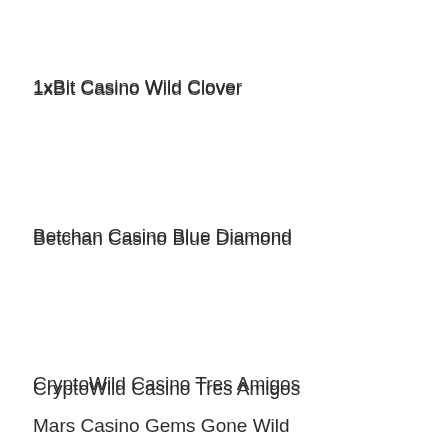1xBit Casino Wild Clover
Betchan Casino Blue Diamond
CryptoWild Casino Tres Amigos
Mars Casino Gems Gone Wild
Platincasino The Slotfather 2